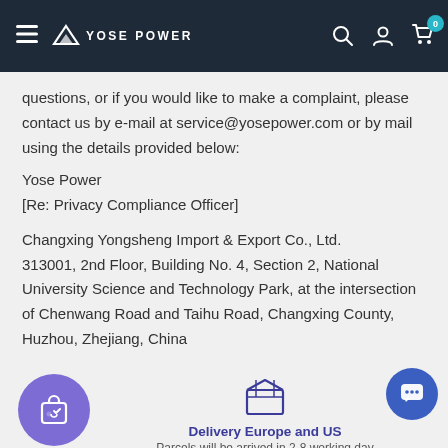YOSE POWER — Navigation bar with logo, search, account, and cart icons
questions, or if you would like to make a complaint, please contact us by e-mail at service@yosepower.com or by mail using the details provided below:
Yose Power
[Re: Privacy Compliance Officer]
Changxing Yongsheng Import & Export Co., Ltd.
313001, 2nd Floor, Building No. 4, Section 2, National University Science and Technology Park, at the intersection of Chenwang Road and Taihu Road, Changxing County, Huzhou, Zhejiang, China
[Figure (infographic): Shopping bag with heart icon in purple circle, box/package icon, chat bubble icon in blue circle, UK flag with English language selector]
Delivery Europe and US
Parcels will be arrived in 2-8 working day